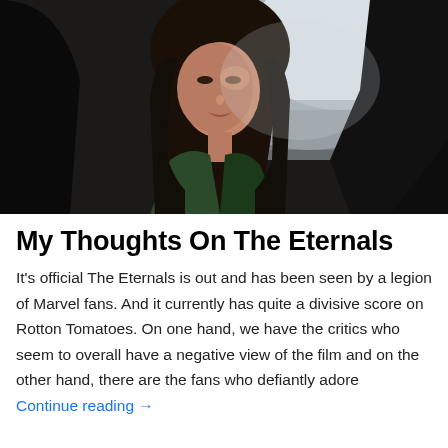[Figure (photo): Movie still from The Eternals showing a young Asian woman with dark hair looking upward, dimly lit scene with a bright window or outdoor light behind her and a dark figure partially visible in the foreground right]
My Thoughts On The Eternals
It's official The Eternals is out and has been seen by a legion of Marvel fans. And it currently has quite a divisive score on Rotton Tomatoes. On one hand, we have the critics who seem to overall have a negative view of the film and on the other hand, there are the fans who defiantly adore  Continue reading →